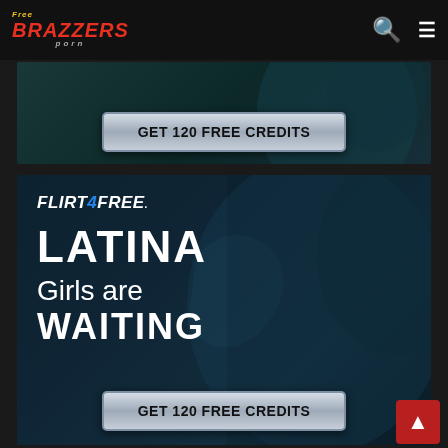Free Brazzers Porn
[Figure (advertisement): Top ad banner partially visible showing a woman in lingerie with a silver button reading GET 120 FREE CREDITS on a dark teal background]
GET 120 FREE CREDITS
[Figure (advertisement): Flirt4Free advertisement banner featuring a dark-haired Latina woman in lingerie on a dark teal background with text LATINA Girls are WAITING and a silver button GET 120 FREE CREDITS]
FLIRT4FREE
LATINA Girls are WAITING
GET 120 FREE CREDITS